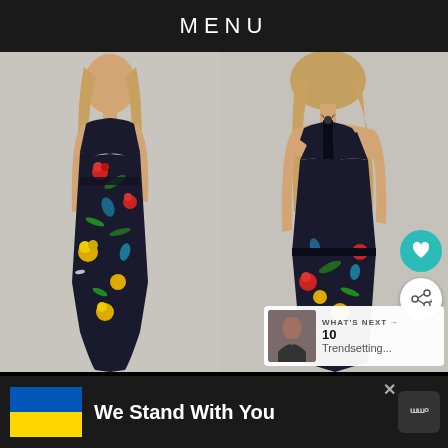MENU
[Figure (photo): Two fashion photos side by side: left shows front view of a woman wearing a dark floral maxi dress with colorful flowers (red, yellow, blue, green); right shows back view of the same dress revealing an open back with T-bar strap detail. Both photos set against a light background.]
WHAT'S NEXT →
10
Trendsetting...
We Stand With You